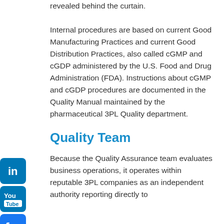revealed behind the curtain.
Internal procedures are based on current Good Manufacturing Practices and current Good Distribution Practices, also called cGMP and cGDP administered by the U.S. Food and Drug Administration (FDA). Instructions about cGMP and cGDP procedures are documented in the Quality Manual maintained by the pharmaceutical 3PL Quality department.
Quality Team
Because the Quality Assurance team evaluates business operations, it operates within reputable 3PL companies as an independent authority reporting directly to